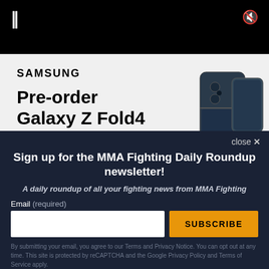[Figure (screenshot): Video player top bar with black background, pause icon (two vertical bars) on left, muted speaker icon on right]
[Figure (screenshot): Samsung advertisement for Pre-order Galaxy Z Fold4, with phone image on right. Text: SAMSUNG, Pre-order Galaxy Z Fold4, Get a free storage upgrade, available exchanges]
close X
Sign up for the MMA Fighting Daily Roundup newsletter!
A daily roundup of all your fighting news from MMA Fighting
Email (required)
SUBSCRIBE
By submitting your email, you agree to our Terms and Privacy Notice. You can opt out at any time. This site is protected by reCAPTCHA and the Google Privacy Policy and Terms of Service apply.